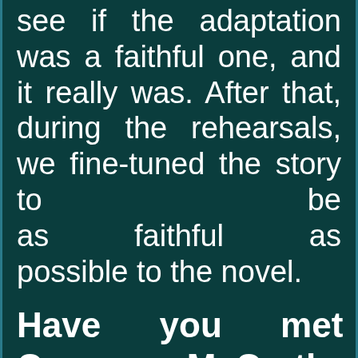see if the adaptation was a faithful one, and it really was. After that, during the rehearsals, we fine-tuned the story to be as faithful as possible to the novel.
Have you met Cormac McCarthy